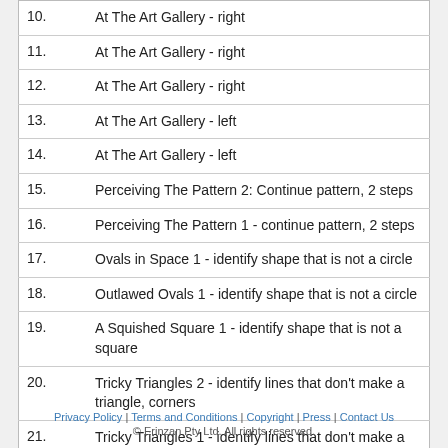| # | Description |
| --- | --- |
| 10. | At The Art Gallery - right |
| 11. | At The Art Gallery - right |
| 12. | At The Art Gallery - right |
| 13. | At The Art Gallery - left |
| 14. | At The Art Gallery - left |
| 15. | Perceiving The Pattern 2: Continue pattern, 2 steps |
| 16. | Perceiving The Pattern 1 - continue pattern, 2 steps |
| 17. | Ovals in Space 1 - identify shape that is not a circle |
| 18. | Outlawed Ovals 1 - identify shape that is not a circle |
| 19. | A Squished Square 1 - identify shape that is not a square |
| 20. | Tricky Triangles 2 - identify lines that don't make a triangle, corners |
| 21. | Tricky Triangles 1 - identify lines that don't make a triangle, corners |
Privacy Policy | Terms and Conditions | Copyright | Press | Contact Us
© Erinzan Pty Ltd. All rights reserved.